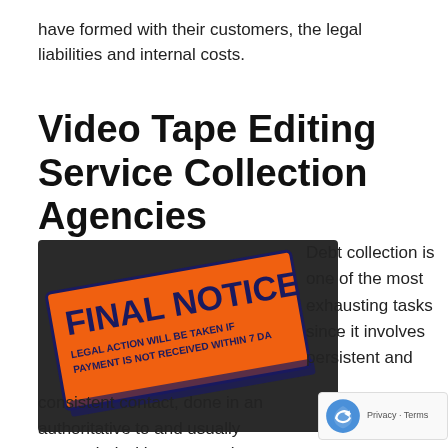have formed with their customers, the legal liabilities and internal costs.
Video Tape Editing Service Collection Agencies
[Figure (photo): Orange 'FINAL NOTICE' label with dark blue text reading 'LEGAL ACTION WILL BE TAKEN IF PAYMENT IS NOT RECEIVED WITHIN 7 DA[YS]', photographed at an angle on a dark background.]
Debt collection is one of the most exhausting tasks since it involves persistent and consistent contact, done in an authoritative to and usually responded with tense exchanges.